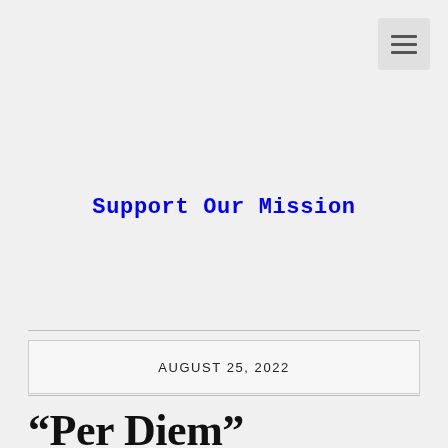[Figure (other): Hamburger menu icon button in top right corner]
Support Our Mission
AUGUST 25, 2022
“Per Diem” explanation